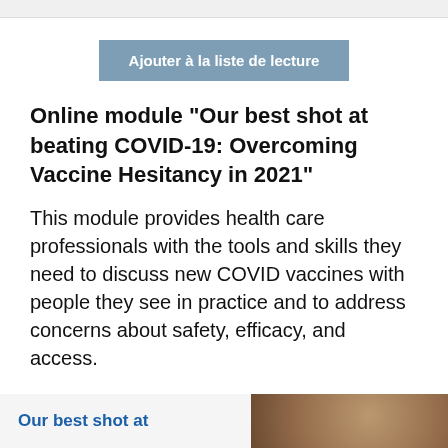Ajouter à la liste de lecture
Online module “Our best shot at beating COVID-19: Overcoming Vaccine Hesitancy in 2021”
This module provides health care professionals with the tools and skills they need to discuss new COVID vaccines with people they see in practice and to address concerns about safety, efficacy, and access.
[Figure (screenshot): Bottom banner showing 'Our best shot at' text in blue on left, and a photo of a person's shoulder/arm on the right, suggesting a vaccine injection scene.]